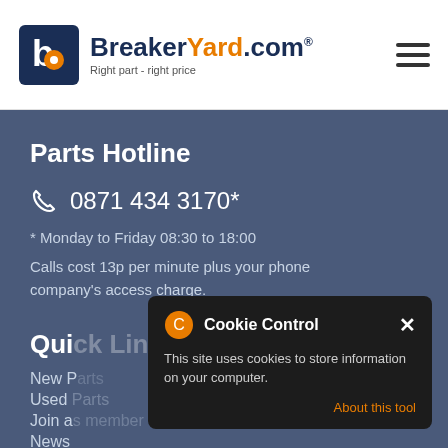BreakerYard.com – Right part - right price
Parts Hotline
0871 434 3170*
* Monday to Friday 08:30 to 18:00
Calls cost 13p per minute plus your phone company's access charge.
Qui[ck Links]
New P[arts]
Used Parts
Join a[s member]
News
[Figure (screenshot): Cookie Control popup overlay: dark rounded rectangle with gear/cookie icon, title 'Cookie Control', close X button, body text 'This site uses cookies to store information on your computer.', and an orange 'About this tool' link. Below it a smaller 'read more' box.]